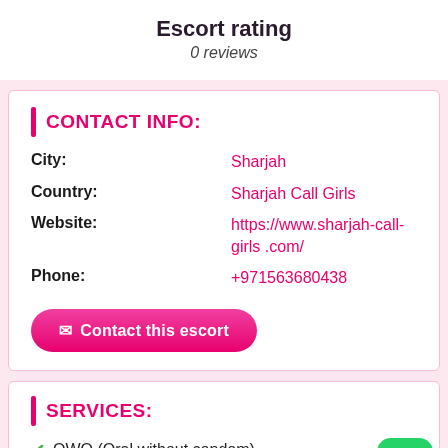Escort rating
0 reviews
CONTACT INFO:
City: Sharjah
Country: Sharjah Call Girls
Website: https://www.sharjah-call-girls .com/
Phone: +971563680438
Contact this escort
SERVICES:
OWO (Oral without condom)